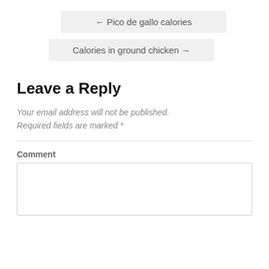← Pico de gallo calories
Calories in ground chicken →
Leave a Reply
Your email address will not be published. Required fields are marked *
Comment